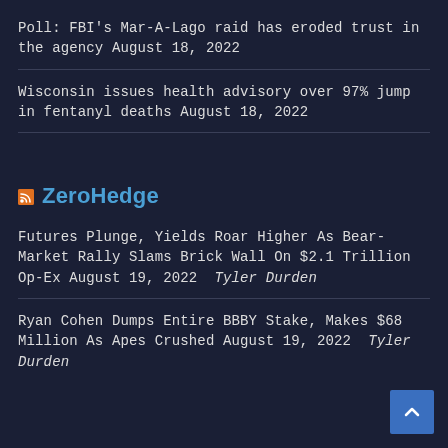Poll: FBI's Mar-A-Lago raid has eroded trust in the agency August 18, 2022
Wisconsin issues health advisory over 97% jump in fentanyl deaths August 18, 2022
ZeroHedge
Futures Plunge, Yields Roar Higher As Bear-Market Rally Slams Brick Wall On $2.1 Trillion Op-Ex August 19, 2022  Tyler Durden
Ryan Cohen Dumps Entire BBBY Stake, Makes $68 Million As Apes Crushed August 19, 2022  Tyler Durden